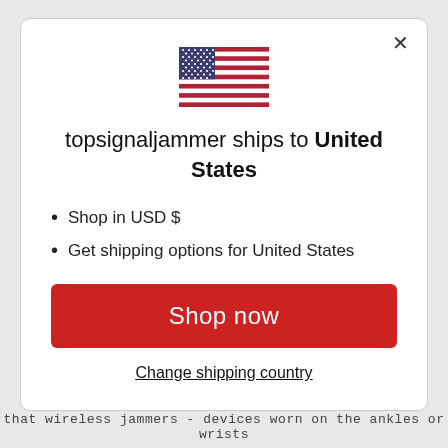[Figure (illustration): US flag icon, rectangular, showing stars canton on blue field and red/white stripes]
topsignaljammer ships to United States
Shop in USD $
Get shipping options for United States
Shop now
Change shipping country
that wireless jammers - devices worn on the ankles or wrists